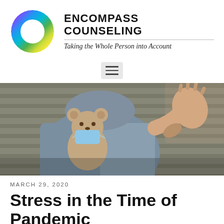[Figure (logo): Encompass Counseling circular rainbow gradient logo]
ENCOMPASS COUNSELING
Taking the Whole Person into Account
[Figure (other): Hamburger navigation menu button]
[Figure (photo): Person in denim jacket holding a teddy bear with a face mask, raising hand in stop gesture]
MARCH 29, 2020
Stress in the Time of Pandemic